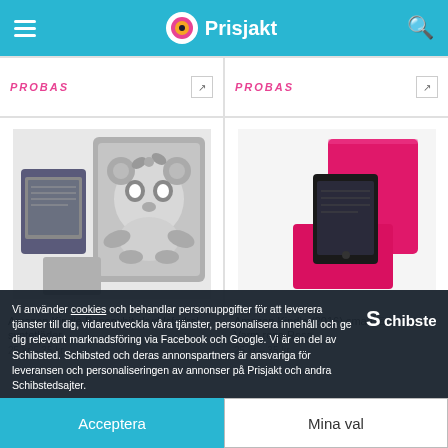Prisjakt
[Figure (screenshot): Top strip showing two product cells with PROBAS text and arrow icons]
[Figure (photo): Amazon Kindle Paperwhit skyddsfodral syntetläder - gray panda design case]
Amazon Kindle Paperwhit skyddsfodral syntetläder
[Figure (photo): Amazon Kindle (2016) smart läderfodral - Varm rosa Rosa pink case]
Amazon Kindle (2016) smart läderfodral - Varm rosa Rosa
Vi använder cookies och behandlar personuppgifter för att leverera tjänster till dig, vidareutveckla våra tjänster, personalisera innehåll och ge dig relevant marknadsföring via Facebook och Google. Vi är en del av Schibsted. Schibsted och deras annonspartners är ansvariga för leveransen och personaliseringen av annonser på Prisjakt och andra Schibstedsajter.
[Figure (logo): Schibsted logo]
Acceptera
Mina val